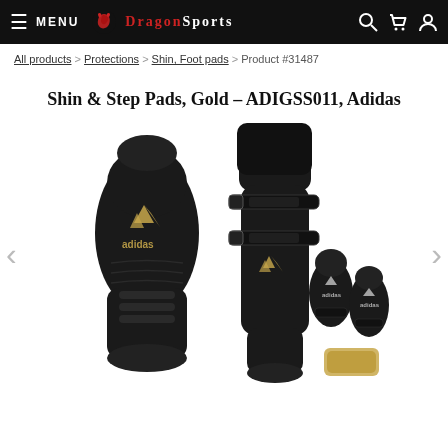MENU | DragonSports
All products > Protections > Shin, Foot pads > Product #31487
Shin & Step Pads, Gold - ADIGSS011, Adidas
[Figure (photo): Product photo showing Adidas Shin & Step Pads in black and gold (ADIGSS011). Two views of the full shin+step guard and two smaller pads shown on the right side.]